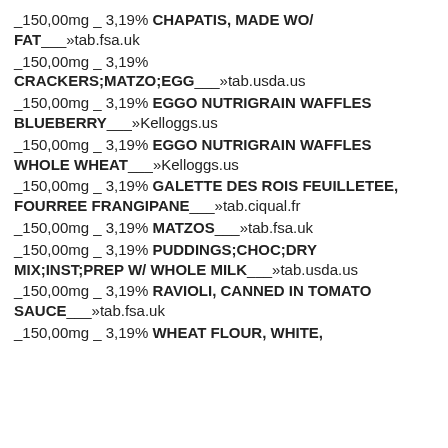_150,00mg _ 3,19% CHAPATIS, MADE WO/ FAT___»tab.fsa.uk
_150,00mg _ 3,19% CRACKERS;MATZO;EGG___»tab.usda.us
_150,00mg _ 3,19% EGGO NUTRIGRAIN WAFFLES BLUEBERRY___»Kelloggs.us
_150,00mg _ 3,19% EGGO NUTRIGRAIN WAFFLES WHOLE WHEAT___»Kelloggs.us
_150,00mg _ 3,19% GALETTE DES ROIS FEUILLETEE, FOURREE FRANGIPANE___»tab.ciqual.fr
_150,00mg _ 3,19% MATZOS___»tab.fsa.uk
_150,00mg _ 3,19% PUDDINGS;CHOC;DRY MIX;INST;PREP W/ WHOLE MILK___»tab.usda.us
_150,00mg _ 3,19% RAVIOLI, CANNED IN TOMATO SAUCE___»tab.fsa.uk
_150,00mg _ 3,19% WHEAT FLOUR, WHITE,